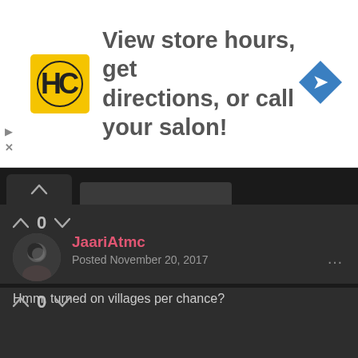[Figure (infographic): Advertisement banner: HC logo (yellow square with black HC letters), text 'View store hours, get directions, or call your salon!', blue diamond navigation arrow icon]
View store hours, get directions, or call your salon!
JaariAtmc
Posted November 20, 2017
Hmm, turned on villages per chance?
0
0